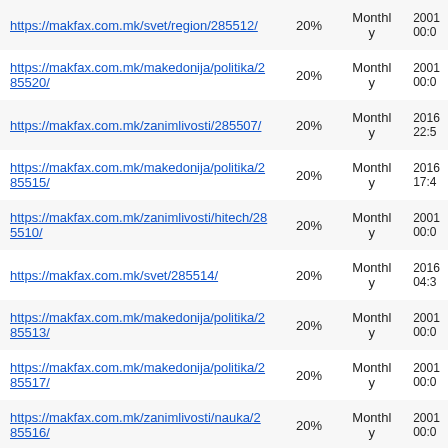| URL | Change Frequency | Priority | Last Modified |
| --- | --- | --- | --- |
| https://makfax.com.mk/svet/region/285512/ | 20% | Monthly | 2001
00:0 |
| https://makfax.com.mk/makedonija/politika/285520/ | 20% | Monthly | 2001
00:0 |
| https://makfax.com.mk/zanimlivosti/285507/ | 20% | Monthly | 2016
22:5 |
| https://makfax.com.mk/makedonija/politika/285515/ | 20% | Monthly | 2016
17:4 |
| https://makfax.com.mk/zanimlivosti/hitech/285510/ | 20% | Monthly | 2001
00:0 |
| https://makfax.com.mk/svet/285514/ | 20% | Monthly | 2016
04:3 |
| https://makfax.com.mk/makedonija/politika/285513/ | 20% | Monthly | 2001
00:0 |
| https://makfax.com.mk/makedonija/politika/285517/ | 20% | Monthly | 2001
00:0 |
| https://makfax.com.mk/zanimlivosti/nauka/285516/ | 20% | Monthly | 2001
00:0 |
| https://makfax.com.mk/crna-hronika/285511/ | 20% | Monthly | 2001
00:0 |
| https://makfax.com.mk/crna-hronika/285509/ | 20% | Monthly | 2016
23:1 |
| https://makfax.com.mk/svet/region/285508/ | 20% | Monthly | 2001
00:0 |
| https://makfax.com.mk/ekonomija/analiza/285504/ | 20% | Monthly | 2001
00:0 |